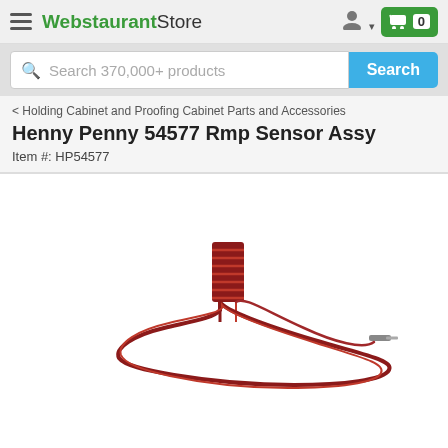WebstaurantStore
Search 370,000+ products
< Holding Cabinet and Proofing Cabinet Parts and Accessories
Henny Penny 54577 Rmp Sensor Assy
Item #: HP54577
[Figure (photo): Product photo of Henny Penny 54577 Rmp Sensor Assy — a red coiled wire with metal probe tip on white background]